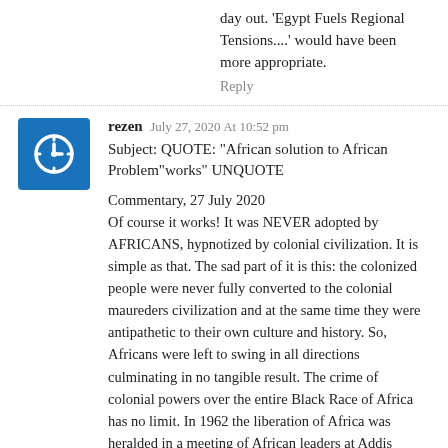day out. 'Egypt Fuels Regional Tensions....' would have been more appropriate.
Reply
rezen July 27, 2020 At 10:52 pm
Subject: QUOTE: "African solution to African Problem"works" UNQUOTE
Commentary, 27 July 2020
Of course it works! It was NEVER adopted by AFRICANS, hypnotized by colonial civilization. It is simple as that. The sad part of it is this: the colonized people were never fully converted to the colonial maureders civilization and at the same time they were antipathetic to their own culture and history. So, Africans were left to swing in all directions culminating in no tangible result. The crime of colonial powers over the entire Black Race of Africa has no limit. In 1962 the liberation of Africa was heralded in a meeting of African leaders at Addis Ababa, Ethiopia hosted by Emperor Haile Selassie, the King of Kings of the Tribe of Judah, anointed by the Almighty God. Fifty-eight (58) years later Africa is still stagnant with absolute indigenous Dictators. That is all AFRICA can do — so murmured colonial powers of yesterday. Diplomacy forbidding being open truthfulness.
And so the title of my commentary and the first sentence